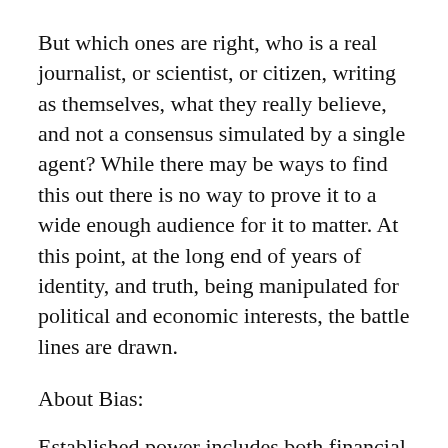But which ones are right, who is a real journalist, or scientist, or citizen, writing as themselves, what they really believe, and not a consensus simulated by a single agent? While there may be ways to find this out there is no way to prove it to a wide enough audience for it to matter. At this point, at the long end of years of identity, and truth, being manipulated for political and economic interests, the battle lines are drawn.
About Bias:
Established power includes both financial powers as well as the power of majority, as these are the groups in the best position to saturate a